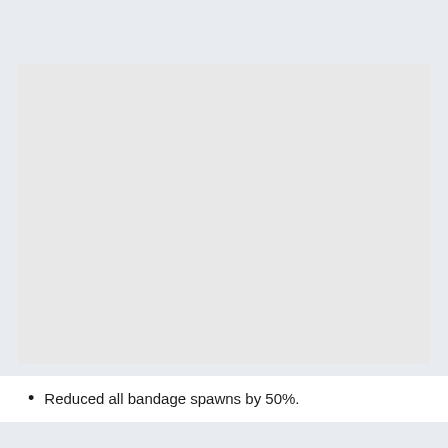[Figure (other): A blank light gray rectangular image placeholder area]
Reduced all bandage spawns by 50%.